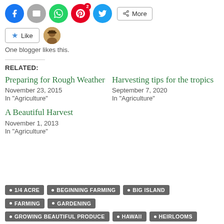[Figure (other): Social share buttons row: Facebook, Email, WhatsApp, Pinterest (with badge 2), Twitter circles, and a More button]
[Figure (other): Like button with star icon and a blogger avatar photo]
One blogger likes this.
RELATED:
Preparing for Rough Weather
November 23, 2015
In "Agriculture"
Harvesting tips for the tropics
September 7, 2020
In "Agriculture"
A Beautiful Harvest
November 1, 2013
In "Agriculture"
1/4 ACRE
BEGINNING FARMING
BIG ISLAND
FARMING
GARDENING
GROWING BEAUTIFUL PRODUCE
HAWAII
HEIRLOOMS